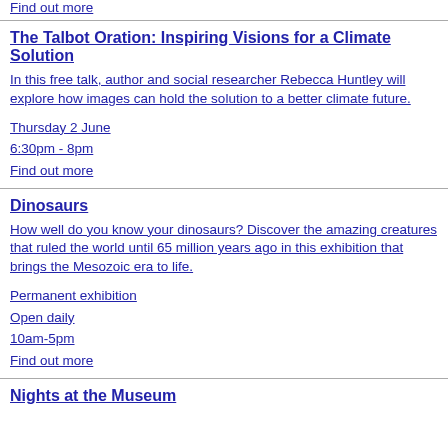Find out more
The Talbot Oration: Inspiring Visions for a Climate Solution
In this free talk, author and social researcher Rebecca Huntley will explore how images can hold the solution to a better climate future.
Thursday 2 June
6:30pm - 8pm
Find out more
Dinosaurs
How well do you know your dinosaurs? Discover the amazing creatures that ruled the world until 65 million years ago in this exhibition that brings the Mesozoic era to life.
Permanent exhibition
Open daily
10am-5pm
Find out more
Nights at the Museum